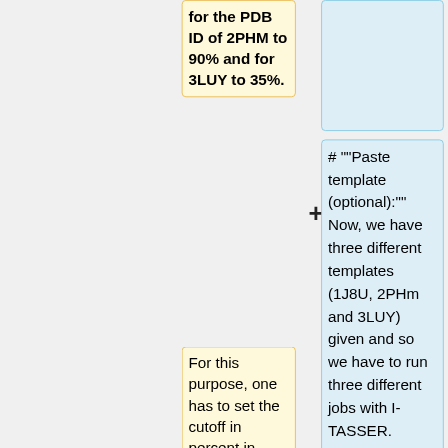for the PDB ID of 2PHM to 90% and for 3LUY to 35%.
# ""Paste template (optional):"" Now, we have three different templates (1J8U, 2PHm and 3LUY) given and so we have to run three different jobs with I-TASSER. Therefore, we type the PDB ID into the field ""Specify template without alignment"" in "<code>Option I</code>".
For this purpose, one has to set the cutoff in percent in "<code>Option II</code>" into the field ""Exclude...